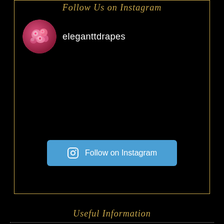Follow Us on Instagram
eleganttdrapes
[Figure (other): Pink floral profile avatar circle for eleganttdrapes Instagram account]
Follow on Instagram
Useful Information